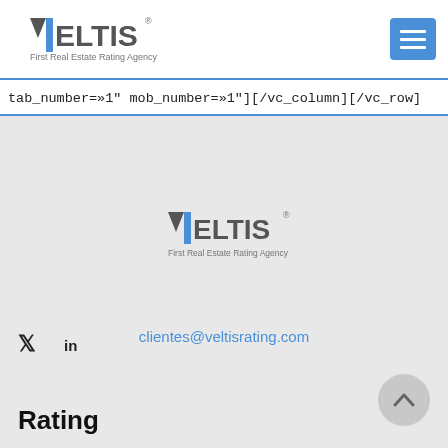[Figure (logo): VELTIS logo with text 'First Real Estate Rating Agency' in header]
[Figure (other): Blue hamburger menu button in top right corner]
tab_number=»1″ mob_number=»1″][/vc_column][/vc_row]
[Figure (logo): VELTIS logo centered in grey area with text 'First Real Estate Rating Agency']
clientes@veltisrating.com
[Figure (other): Twitter and LinkedIn social media icons]
[Figure (other): Back to top circular button with upward arrow]
Rating